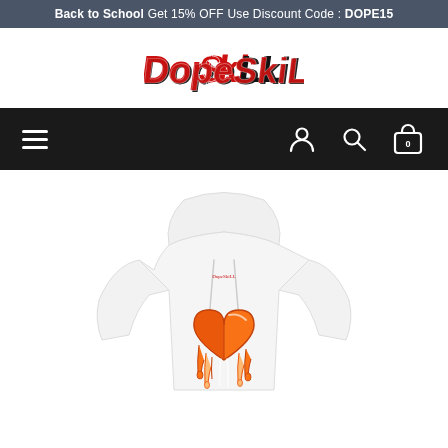Back to School Get 15% OFF Use Discount Code : DOPE15
[Figure (logo): DopeSki brand logo in red and black graffiti-style lettering]
[Figure (screenshot): E-commerce navigation bar with hamburger menu on left and user, search, cart icons on right, dark background]
[Figure (photo): White hoodie sweatshirt with an orange and red dripping melting heart graphic on the chest, displayed on a white background]